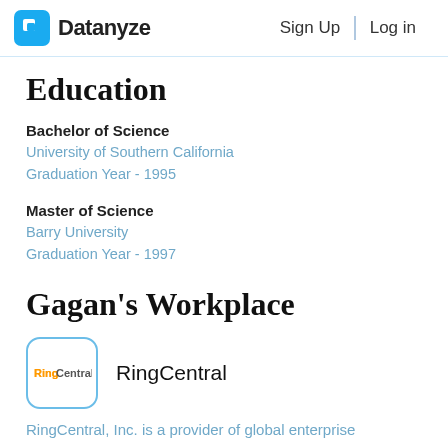Datanyze  Sign Up  Log in
Education
Bachelor of Science
University of Southern California
Graduation Year - 1995
Master of Science
Barry University
Graduation Year - 1997
Gagan's Workplace
[Figure (logo): RingCentral company logo in a rounded square border]
RingCentral
RingCentral, Inc. is a provider of global enterprise